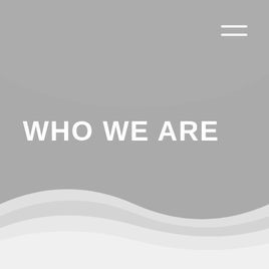[Figure (illustration): Full-page background with a large medium-gray circle/rounded shape at top, fading into lighter gray wave shapes at the bottom, giving a layered curved silhouette effect on a white background.]
WHO WE ARE
[Figure (other): Hamburger menu icon — two horizontal white lines in top-right corner.]